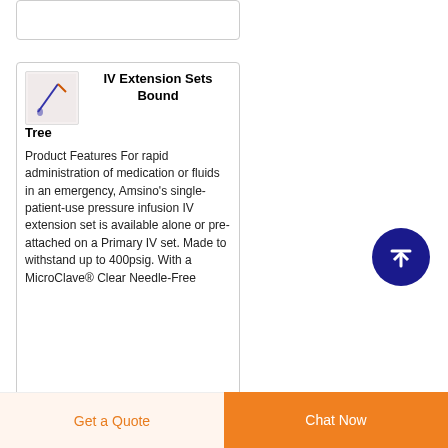[Figure (photo): Partial product card cropped at top of page]
IV Extension Sets Bound Tree
Product Features For rapid administration of medication or fluids in an emergency, Amsino's single-patient-use pressure infusion IV extension set is available alone or pre-attached on a Primary IV set. Made to withstand up to 400psig. With a MicroClave® Clear Needle-Free
[Figure (illustration): Circular dark blue button with white upward arrow icon]
Get a Quote   Chat Now